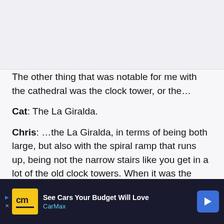The other thing that was notable for me with the cathedral was the clock tower, or the…
Cat: The La Giralda.
Chris: …the La Giralda, in terms of being both large, but also with the spiral ramp that runs up, being not the narrow stairs like you get in a lot of the old clock towers. When it was the mosque, as I recall, was it five times a day the person who was going to lead the call to prayer would ride his horse up the tower, to lead the call to prayer.
Cat: The La Giralda is kind of the unofficial city symbol still. It was, at one time, the largest building in S… …otaling Cat…
[Figure (other): CarMax advertisement banner with logo, headline 'See Cars Your Budget Will Love', and CarMax branding in blue and yellow on dark background]